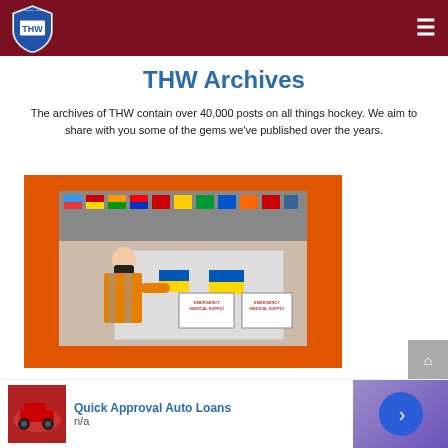THW logo and navigation
THW Archives
The archives of THW contain over 40,000 posts on all things hockey. We aim to share with you some of the gems we've published over the years.
[Figure (photo): Worker in orange high-visibility vest placing Ukrainian flag sticker on a wrapped pallet, with international flags hanging from ceiling in a warehouse setting. Labels on the pallet read 'Emergency Medical Supply'.]
Quick Approval Auto Loans
n/a